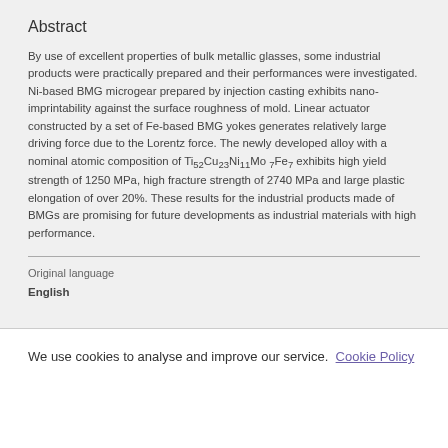Abstract
By use of excellent properties of bulk metallic glasses, some industrial products were practically prepared and their performances were investigated. Ni-based BMG microgear prepared by injection casting exhibits nano-imprintability against the surface roughness of mold. Linear actuator constructed by a set of Fe-based BMG yokes generates relatively large driving force due to the Lorentz force. The newly developed alloy with a nominal atomic composition of Ti52Cu23Ni11Mo7Fe7 exhibits high yield strength of 1250 MPa, high fracture strength of 2740 MPa and large plastic elongation of over 20%. These results for the industrial products made of BMGs are promising for future developments as industrial materials with high performance.
Original language
English
We use cookies to analyse and improve our service. Cookie Policy